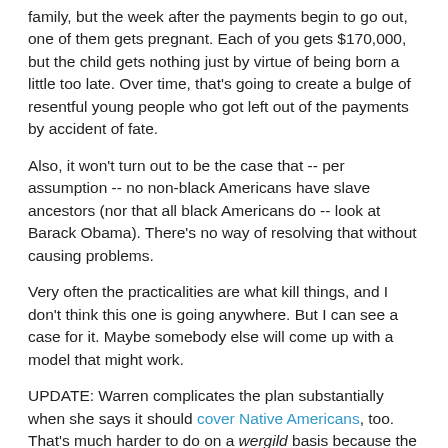family, but the week after the payments begin to go out, one of them gets pregnant. Each of you gets $170,000, but the child gets nothing just by virtue of being born a little too late. Over time, that's going to create a bulge of resentful young people who got left out of the payments by accident of fate.
Also, it won't turn out to be the case that -- per assumption -- no non-black Americans have slave ancestors (nor that all black Americans do -- look at Barack Obama). There's no way of resolving that without causing problems.
Very often the practicalities are what kill things, and I don't think this one is going anywhere. But I can see a case for it. Maybe somebody else will come up with a model that might work.
UPDATE: Warren complicates the plan substantially when she says it should cover Native Americans, too. That's much harder to do on a wergild basis because the issue isn't the deaths per se, it's the elimination of whole civilizations and ways of life.